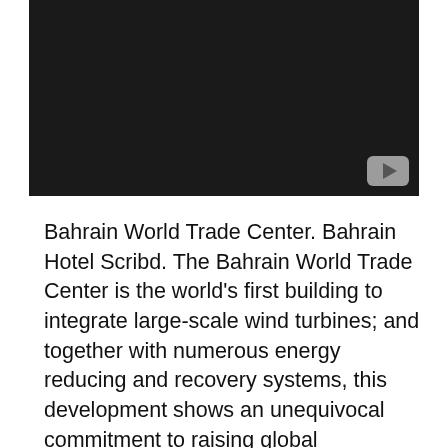[Figure (screenshot): Dark video thumbnail with a YouTube-style play button in the bottom-right corner]
Bahrain World Trade Center. Bahrain Hotel Scribd. The Bahrain World Trade Center is the world's first building to integrate large-scale wind turbines; and together with numerous energy reducing and recovery systems, this development shows an unequivocal commitment to raising global awareness for sustainable design. This building is pioneering a new direction for designers and owners acting as a technological precedent. The BWTC has shown. WTC Bahrain Participates in Gulf